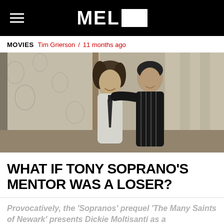MEL
MOVIES  Tim Grierson  /  11 months ago
[Figure (photo): Two men standing together smiling in a room with floral wallpaper, one wearing a white shirt with a dark tie, the other in a dark striped top.]
WHAT IF TONY SOPRANO'S MENTOR WAS A LOSER?
Provocatively, the 'Sopranos' prequel 'The Many Saints of Newark' presents Dickie Moltisanti as a